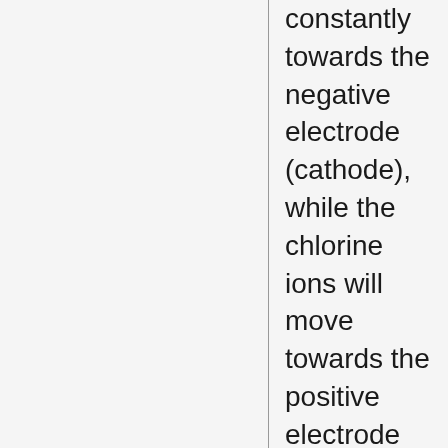constantly towards the negative electrode (cathode), while the chlorine ions will move towards the positive electrode